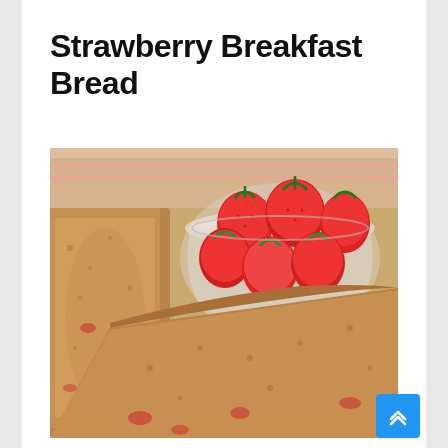Strawberry Breakfast Bread
[Figure (photo): Photo of sliced strawberry breakfast bread loaf on a wooden board alongside a glass bowl filled with fresh red strawberries, with a pink striped cloth in the background.]